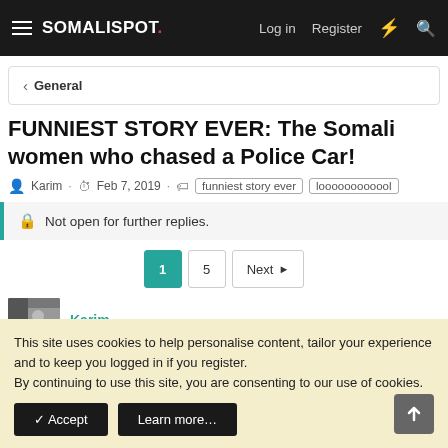SOMALISPOT. Log in Register
< General
FUNNIEST STORY EVER: The Somali women who chased a Police Car!
Karim · Feb 7, 2019 · funniest story ever | loooooooooool
Not open for further replies.
1 5 Next
Karim
This site uses cookies to help personalise content, tailor your experience and to keep you logged in if you register.
By continuing to use this site, you are consenting to our use of cookies.